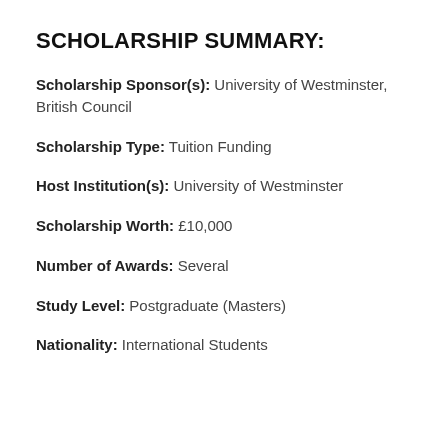SCHOLARSHIP SUMMARY:
Scholarship Sponsor(s): University of Westminster, British Council
Scholarship Type: Tuition Funding
Host Institution(s): University of Westminster
Scholarship Worth: £10,000
Number of Awards: Several
Study Level: Postgraduate (Masters)
Nationality: International Students